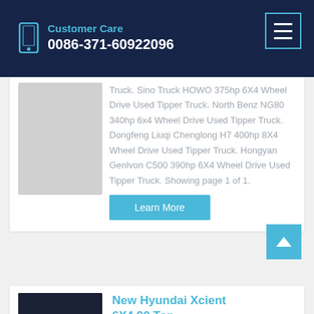Customer Care
0086-371-60922096
Truck. Sino Truck HOWO 375hp 6X4 Wheel Drive Used Tipper Truck. North Benz NG80 340hp 6x4 Wheel Drive Used Tipper Truck. Dongfeng Liuqi Chenglong H7 400hp 8X4 Wheel Drive Used Tipper Truck. Hongyan Genlvon C500 390hp 6X4 Wheel Drive Used Tipper Truck. Showing page 1 of 1.
Learn More
[Figure (photo): Thumbnail image of truck]
New Hyundai Xcient 6X4 90 Ton...